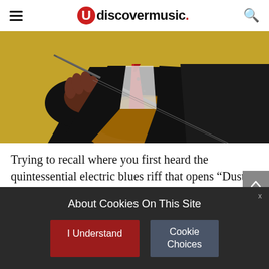udiscovermusic.
[Figure (illustration): Stylized illustration of a person in a black suit holding a guitar, with gold/yellow background, red necktie visible, close-up of hands on guitar strings.]
Trying to recall where you first heard the quintessential electric blues riff that opens “Dust My Broom” is difficult. It may have been the early 50s version by Elmore James or Fleetwood Mac’s late 60s offering. Some may recall an unknown blues band at a club they visited in their youth, a
About Cookies On This Site
I Understand
Cookie Choices